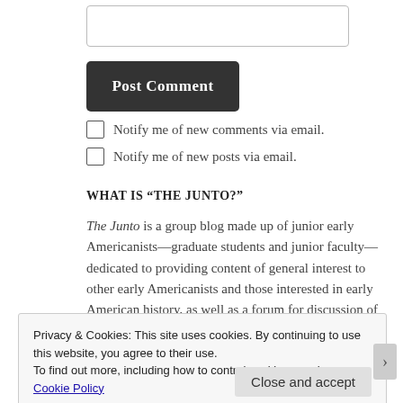[Figure (other): Text input box for comment entry]
[Figure (other): Dark 'Post Comment' button]
Notify me of new comments via email.
Notify me of new posts via email.
WHAT IS “THE JUNTO?”
The Junto is a group blog made up of junior early Americanists—graduate students and junior faculty—dedicated to providing content of general interest to other early Americanists and those interested in early American history, as well as a forum for discussion of relevant historical and academic topics.
Privacy & Cookies: This site uses cookies. By continuing to use this website, you agree to their use.
To find out more, including how to control cookies, see here: Cookie Policy